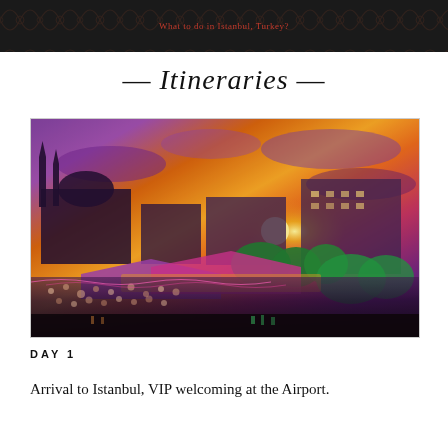What to do in Istanbul, Turkey?
— Itineraries —
[Figure (photo): Crowded Istanbul waterfront market scene at sunset with mosque silhouettes in the background, colorful market stalls and green domed buildings lit up in the foreground]
DAY 1
Arrival to Istanbul, VIP welcoming at the Airport.